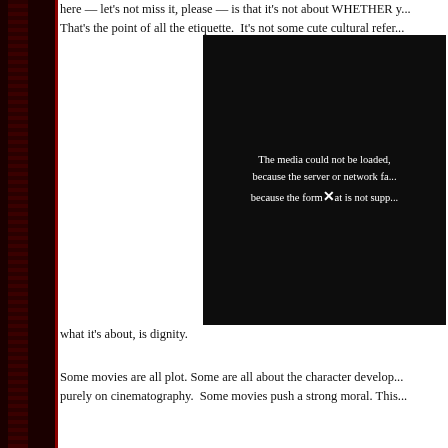here — let's not miss it, please — is that it's not about WHETHER y... That's the point of all the etiquette.  It's not some cute cultural refe...
[Figure (screenshot): Video player showing error message: The media could not be loaded, either because the server or network failed or because the format is not supported.]
what it's about, is dignity.
Some movies are all plot. Some are all about the character develop... purely on cinematography.  Some movies push a strong moral. This...
Finally, I know JPFmovies has been waiting a long time (probably m... now do you see why?  Any sort of proper consideration of this movie... directions.  How can it even fit in a blog post?  In 800 words or so a... Hero for you.  Can you blame me for taking so long to write this?  (J...
[Figure (screenshot): Video player showing error message: The media could not be loaded, either because the server or network failed or because the format is not supported.]